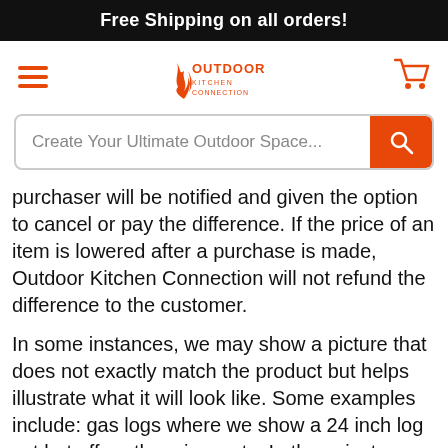Free Shipping on all orders!
[Figure (logo): Outdoor Kitchen Connection logo with hamburger menu and cart icon navigation bar]
[Figure (screenshot): Search bar with placeholder text: Create Your Ultimate Outdoor Space...]
purchaser will be notified and given the option to cancel or pay the difference. If the price of an item is lowered after a purchase is made, Outdoor Kitchen Connection will not refund the difference to the customer.
In some instances, we may show a picture that does not exactly match the product but helps illustrate what it will look like. Some examples include: gas logs where we show a 24 inch log set but offer other sizes, etc. In these instances, we will ship you the item you order (even though it may be slightly different than the image). Please check the product information and specs before you purchase.